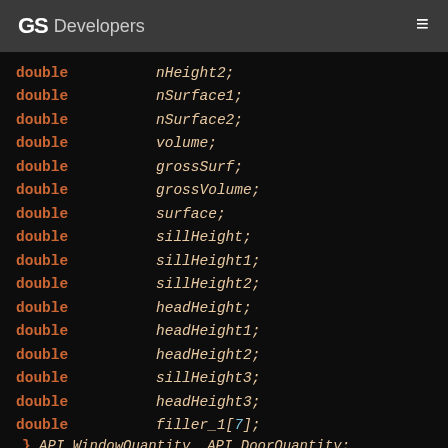GS Developers
[Figure (screenshot): Code block showing C struct field declarations with double type keyword in orange and variable names in italic beige, ending with a typedef line for API_WindowQuantity and API_DoorQuantity]
double nHeight2;
double nSurface1;
double nSurface2;
double volume;
double grossSurf;
double grossVolume;
double surface;
double sillHeight;
double sillHeight1;
double sillHeight2;
double headHeight;
double headHeight1;
double headHeight2;
double sillHeight3;
double headHeight3;
double filler_1[7];
} API_WindowQuantity, API_DoorQuantity;